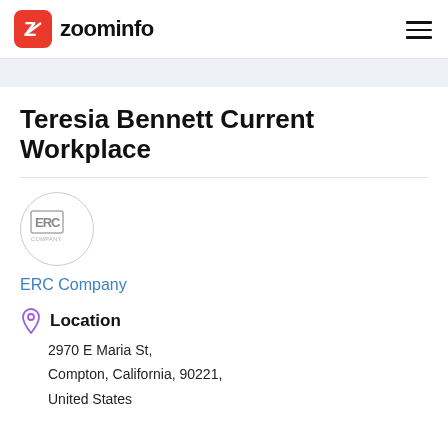zoominfo
Teresia Bennett Current Workplace
[Figure (logo): ERC Company circular logo with company name]
ERC Company
Location
2970 E Maria St,
Compton, California, 90221,
United States